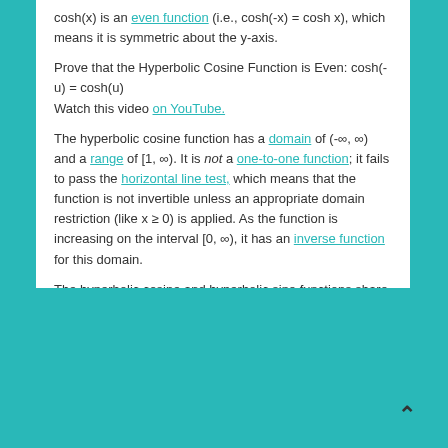cosh(x) is an even function (i.e., cosh(-x) = cosh x), which means it is symmetric about the y-axis.
Prove that the Hyperbolic Cosine Function is Even: cosh(-u) = cosh(u) Watch this video on YouTube.
The hyperbolic cosine function has a domain of (-∞, ∞) and a range of [1, ∞). It is not a one-to-one function; it fails to pass the horizontal line test, which means that the function is not invertible unless an appropriate domain restriction (like x ≥ 0) is applied. As the function is increasing on the interval [0, ∞), it has an inverse function for this domain.
The hyperbolic cosine and hyperbolic sine functions share some important properties [1]: